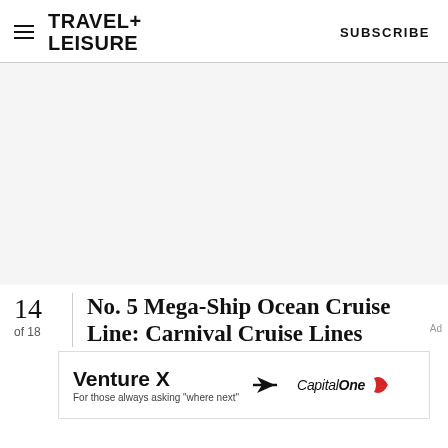TRAVEL+ LEISURE   SUBSCRIBE
[Figure (photo): Large image area (blank/white placeholder) taking up main portion of page]
14 of 18
No. 5 Mega-Ship Ocean Cruise Line: Carnival Cruise Lines
[Figure (other): Advertisement banner: Venture X — For those always asking 'where next' — Capital One logo with arrow]